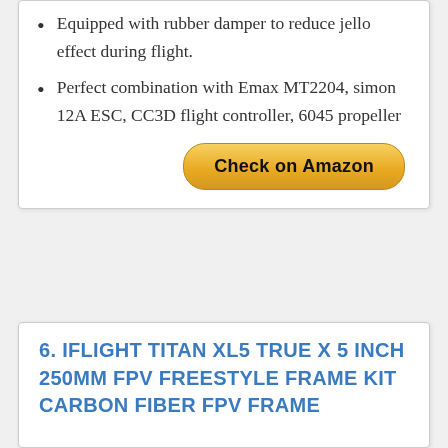Equipped with rubber damper to reduce jello effect during flight.
Perfect combination with Emax MT2204, simon 12A ESC, CC3D flight controller, 6045 propeller
[Figure (other): Check on Amazon button - golden/yellow pill-shaped button]
6. IFLIGHT TITAN XL5 TRUE X 5 INCH 250MM FPV FREESTYLE FRAME KIT CARBON FIBER FPV FRAME